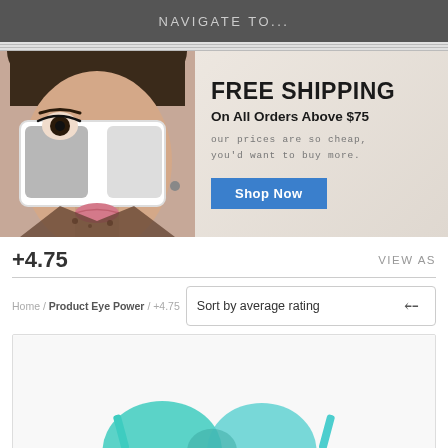NAVIGATE TO...
[Figure (illustration): Promotional banner showing a woman wearing large white sunglasses with text 'FREE SHIPPING On All Orders Above $75' and a 'Shop Now' button]
+4.75
VIEW AS
Home / Product Eye Power / +4.75
Sort by average rating